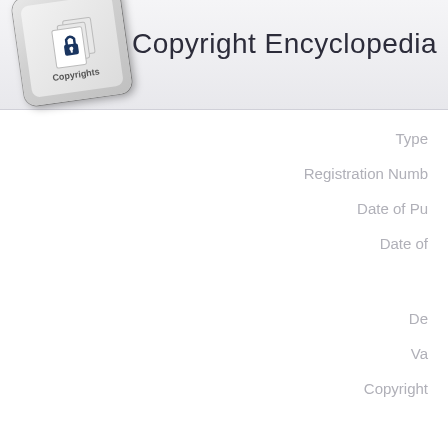[Figure (logo): Copyright Encyclopedia logo showing a keyboard key with a padlock and documents icon, labeled 'Copyrights', tilted at an angle]
Copyright Encyclopedia
Type
Registration Numb
Date of Pu
Date of
De
Va
Copyright